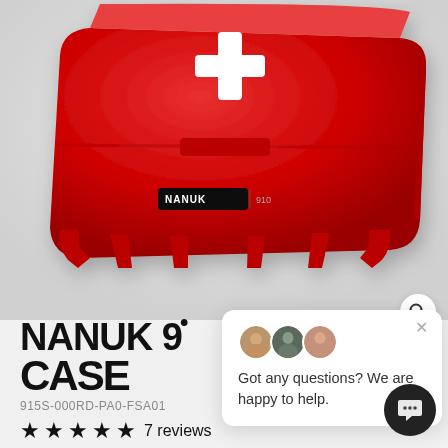[Figure (photo): Red NANUK 910 hard case with white medical cross symbol on top, photographed at an angle on a light gray background. The NANUK logo and model number 910 are visible on the side.]
NANUK 9 CASE
915S-000RD-PA0-FSA01
★★★★★ 7 reviews
[Figure (infographic): Chat popup widget showing three circular avatar photos of support agents, an X close button, and text reading 'Got any questions? We are happy to help.' Also shows a search icon (magnifying glass) and a dark circular chat button in the bottom right.]